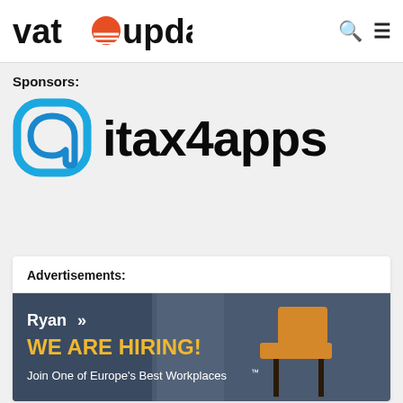vatupdate
Sponsors:
[Figure (logo): itax4apps logo with blue speech-bubble icon and bold black text 'itax4apps']
Advertisements:
[Figure (illustration): Ryan advertisement banner: 'WE ARE HIRING! Join One of Europe's Best Workplaces' with an orange chair on a blue/grey background]